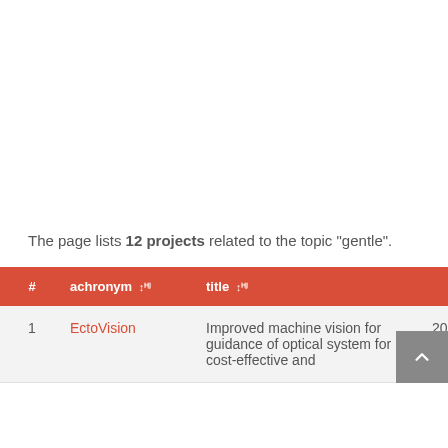The page lists 12 projects related to the topic "gentle".
| # | achronym ↓ | title ↓ | year ⇕ |
| --- | --- | --- | --- |
| 1 | EctoVision | Improved machine vision for guidance of optical system for cost-effective and | 2015 |